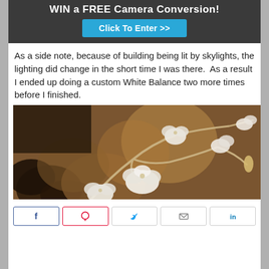[Figure (other): Dark banner with text 'WIN a FREE Camera Conversion!' and a cyan 'Click To Enter >>' button]
As a side note, because of building being lit by skylights, the lighting did change in the short time I was there.  As a result I ended up doing a custom White Balance two more times before I finished.
[Figure (photo): Close-up photograph of white orchid flowers on a branching stem against a warm sepia/brown background with large leaf shapes]
[Figure (other): Social share buttons row: Facebook, Pinterest, Twitter, Email, LinkedIn]